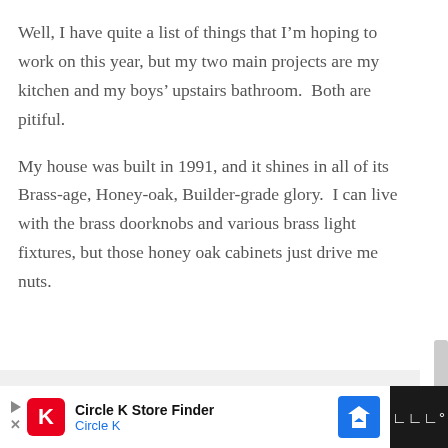Well, I have quite a list of things that I’m hoping to work on this year, but my two main projects are my kitchen and my boys’ upstairs bathroom.  Both are pitiful.
My house was built in 1991, and it shines in all of its Brass-age, Honey-oak, Builder-grade glory.  I can live with the brass doorknobs and various brass light fixtures, but those honey oak cabinets just drive me nuts.
[Figure (other): Advertisement banner at bottom of page for Circle K Store Finder, showing Circle K logo, navigation icon, and dark right panel with microphone icon.]